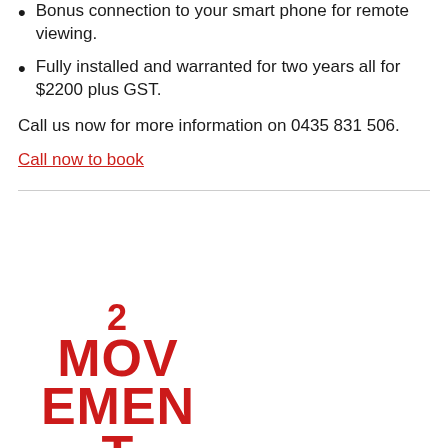Bonus connection to your smart phone for remote viewing.
Fully installed and warranted for two years all for $2200 plus GST.
Call us now for more information on 0435 831 506.
Call now to book
[Figure (logo): Red text logo reading '2 MOVEMENT SENSORS' stacked vertically in bold red letters]